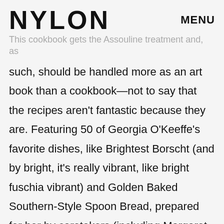NYLON    MENU
This cookbook gets the Assouline treatment and, as such, should be handled more as an art book than a cookbook—not to say that the recipes aren't fantastic because they are. Featuring 50 of Georgia O'Keeffe's favorite dishes, like Brightest Borscht (and by bright, it's really vibrant, like bright fuschia vibrant) and Golden Baked Southern-Style Spoon Bread, prepared for her by caretakers (including Margaret Wood), this book explores the artist's fascination with food as both an art form and means of well-being. Set against the vibrant backdrop of New Mexico, a place where O'Keeffe resided for the